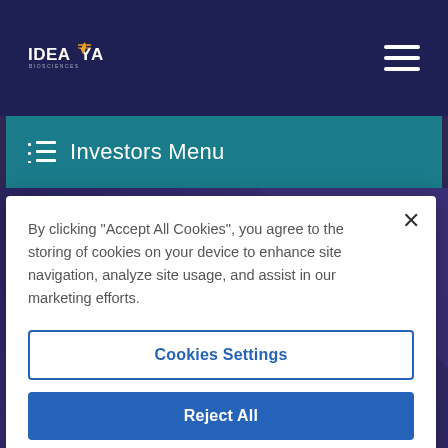[Figure (screenshot): IDEAYA Biosciences website screenshot showing navigation bar with logo and hamburger menu, Investors Menu bar in teal, and a dark purple hero section with a teal horizontal line and partial 'News Releases' heading]
By clicking “Accept All Cookies”, you agree to the storing of cookies on your device to enhance site navigation, analyze site usage, and assist in our marketing efforts.
Cookies Settings
Reject All